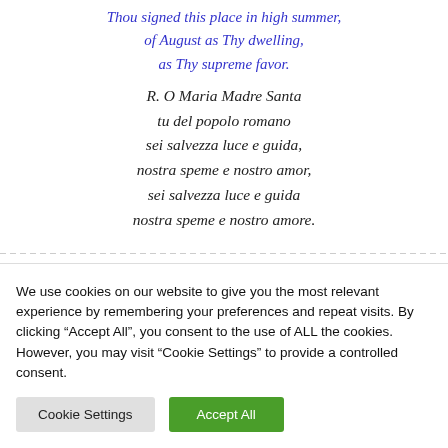Thou signed this place in high summer, of August as Thy dwelling, as Thy supreme favor.
R. O Maria Madre Santa tu del popolo romano sei salvezza luce e guida, nostra speme e nostro amor, sei salvezza luce e guida nostra speme e nostro amore.
We use cookies on our website to give you the most relevant experience by remembering your preferences and repeat visits. By clicking "Accept All", you consent to the use of ALL the cookies. However, you may visit "Cookie Settings" to provide a controlled consent.